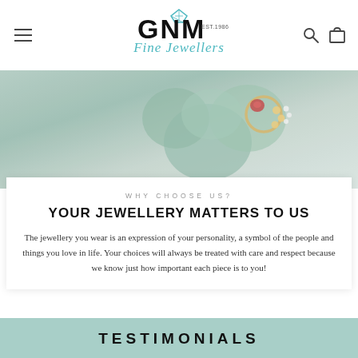GNM Fine Jewellers EST.1986
[Figure (photo): Close-up photo of jewellery with diamonds and red gemstone on green clover/floral background, blurred and muted tones]
WHY CHOOSE US?
YOUR JEWELLERY MATTERS TO US
The jewellery you wear is an expression of your personality, a symbol of the people and things you love in life. Your choices will always be treated with care and respect because we know just how important each piece is to you!
TESTIMONIALS